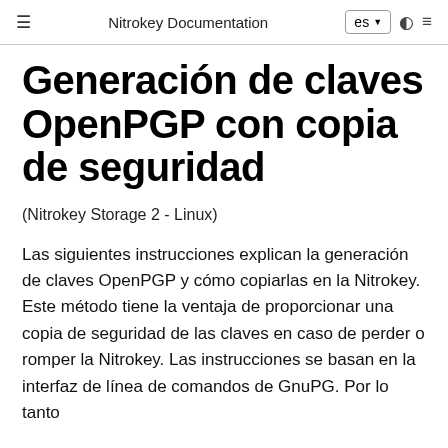Nitrokey Documentation | es
Generación de claves OpenPGP con copia de seguridad
(Nitrokey Storage 2 - Linux)
Las siguientes instrucciones explican la generación de claves OpenPGP y cómo copiarlas en la Nitrokey. Este método tiene la ventaja de proporcionar una copia de seguridad de las claves en caso de perder o romper la Nitrokey. Las instrucciones se basan en la interfaz de línea de comandos de GnuPG. Por lo tanto